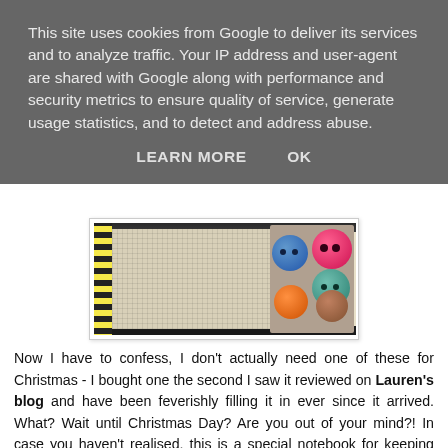This site uses cookies from Google to deliver its services and to analyze traffic. Your IP address and user-agent are shared with Google along with performance and security metrics to ensure quality of service, generate usage statistics, and to detect and address abuse.
LEARN MORE    OK
[Figure (photo): A cross-stitch canvas notebook with spiral binding on the left, and colorful buttons (pink, blue, teal, orange) arranged on the right side, placed on a dark surface.]
Now I have to confess, I don't actually need one of these for Christmas - I bought one the second I saw it reviewed on Lauren's blog and have been feverishly filling it in ever since it arrived. What? Wait until Christmas Day? Are you out of your mind?! In case you haven't realised, this is a special notebook for keeping note of all your sewing projects! 110 in fact: you can record all your ideas for patterns, what fabrics and notions to use, alterations etc AND you even get to colour in a little croquis for each project.